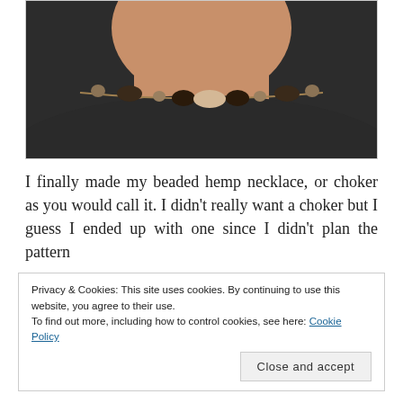[Figure (photo): A person wearing a beaded hemp necklace/choker against their neck and dark shirt. The necklace has alternating dark oval beads and smaller round beads on a hemp cord.]
I finally made my beaded hemp necklace, or choker as you would call it. I didn't really want a choker but I guess I ended up with one since I didn't plan the pattern
Privacy & Cookies: This site uses cookies. By continuing to use this website, you agree to their use.
To find out more, including how to control cookies, see here: Cookie Policy
Close and accept
I was thinking about trying again by adding more knots